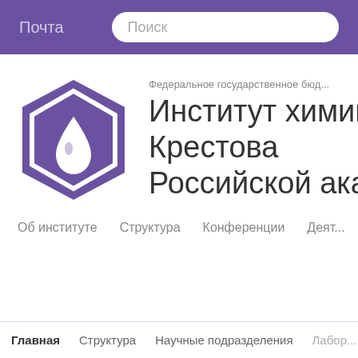Почта   Поиск
[Figure (logo): Purple hexagonal logo with a white water drop icon inside a white hexagonal outline]
Федеральное государственное бюд...
Институт химии р... Крестова Российской акад...
Об институте
Структура
Конференции
Деят...
Главная   Структура   Научные подразделения   Лабор...